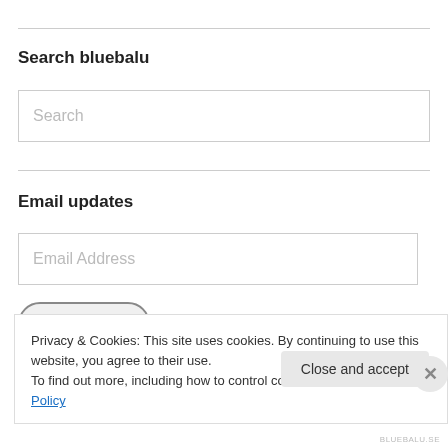Search bluebalu
Search
Email updates
Email Address
Sign me up!
Privacy & Cookies: This site uses cookies. By continuing to use this website, you agree to their use.
To find out more, including how to control cookies, see here: Cookie Policy
Close and accept